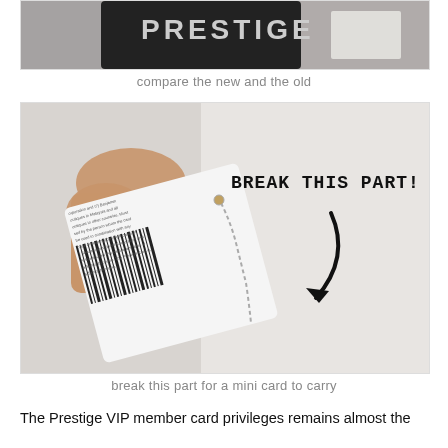[Figure (photo): Top portion of a photo showing a Prestige card with blurred background, black card visible with 'PRESTIGE' text partially shown]
compare the new and the old
[Figure (photo): A hand holding a loyalty/gift card showing the back with barcodes and small print text. The card has a mini breakable card attached with a small chain. Bold text overlay reads 'BREAK THIS PART!' with a curved arrow pointing to the breakable section.]
break this part for a mini card to carry
The Prestige VIP member card privileges remains almost the